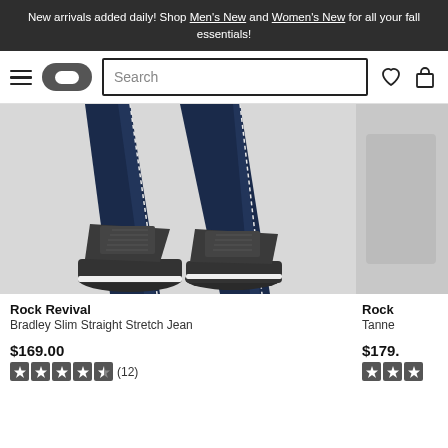New arrivals added daily! Shop Men's New and Women's New for all your fall essentials!
[Figure (screenshot): E-commerce navigation bar with hamburger menu, logo pill, search box, heart icon, and shopping bag icon]
[Figure (photo): Lower legs wearing dark navy slim straight jeans with white-stitching detail, and dark grey/black leather lace-up boots with white rubber soles on a grey background]
Rock Revival
Bradley Slim Straight Stretch Jean
$169.00
(12)
[Figure (photo): Partial view of second product image, cropped — grey background with partial clothing item visible]
Rock
Tanne
$179.